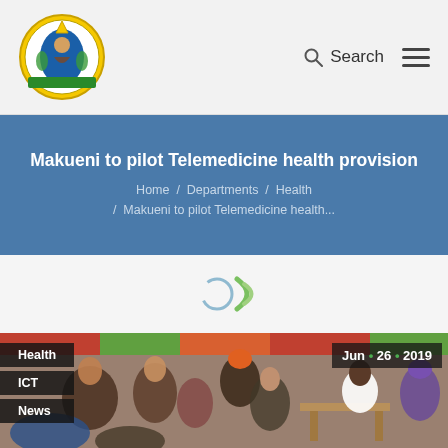Makueni County Government — Logo, Search, Navigation
Makueni to pilot Telemedicine health provision
Home / Departments / Health / Makueni to pilot Telemedicine health...
[Figure (photo): Loading spinner graphic on light gray background]
[Figure (photo): Crowd of people at an outdoor health clinic event under colorful tent, with a healthcare worker in white coat seated at a table]
Health
ICT
News
Jun • 26 • 2019